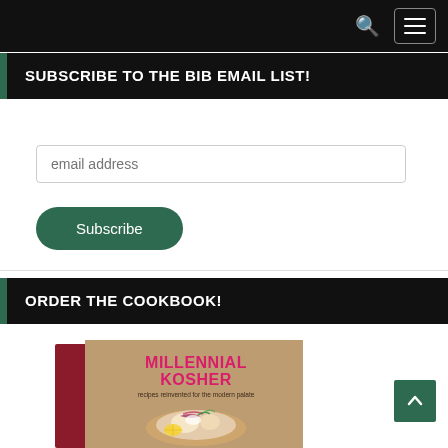Navigation bar with search icon and menu button
SUBSCRIBE TO THE BIB EMAIL LIST!
email address
Subscribe
ORDER THE COOKBOOK!
[Figure (photo): Cookbook cover: Millennial Kosher - recipes reinvented for the modern palate, with a food photo on the cover]